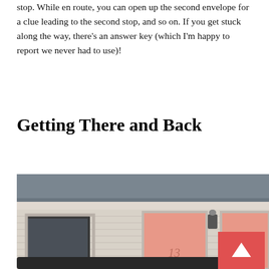stop. While en route, you can open up the second envelope for a clue leading to the second stop, and so on. If you get stuck along the way, there's an answer key (which I'm happy to report we never had to use)!
Getting There and Back
[Figure (photo): Exterior of a motel showing two salmon/pink-colored doors numbered 13 and 14, white/cream siding, a dark grey roof, a small window on the left, a light fixture between the doors, and a car roof visible at the bottom. A red scroll-to-top button with an upward arrow is overlaid in the bottom right corner.]